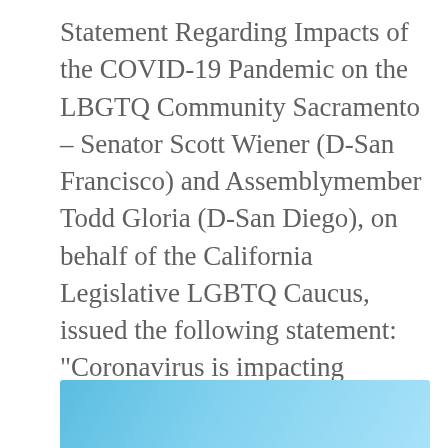Statement Regarding Impacts of the COVID-19 Pandemic on the LBGTQ Community Sacramento – Senator Scott Wiener (D-San Francisco) and Assemblymember Todd Gloria (D-San Diego), on behalf of the California Legislative LGBTQ Caucus, issued the following statement: “Coronavirus is impacting everyone regardless of race, gender, sexual orientation, or immigration status. Yet, … More
[Figure (illustration): Action bar with comment bubble icon and share/link icon on a light grey rounded rectangle background]
[Figure (photo): Blue gradient image at the bottom of the page, partially visible]